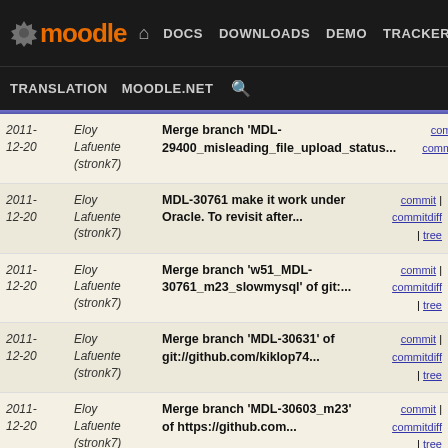moodle — DOCS DOWNLOADS DEMO TRACKER DEV | TRANSLATION MOODLE.NET
| Date | Author | Commit Message | Links |
| --- | --- | --- | --- |
| 2011-12-20 | Eloy Lafuente (stronk7) | Merge branch 'MDL-29400_misleading_file_upload_status... | commit | commitdiff | tree |
| 2011-12-20 | Eloy Lafuente (stronk7) | MDL-30761 make it work under Oracle. To revisit after... | commit | commitdiff | tree |
| 2011-12-20 | Eloy Lafuente (stronk7) | Merge branch 'w51_MDL-30761_m23_slowmysql' of git:... | commit | commitdiff | tree |
| 2011-12-20 | Eloy Lafuente (stronk7) | Merge branch 'MDL-30631' of git://github.com/kiklop74... | commit | commitdiff | tree |
| 2011-12-20 | Eloy Lafuente (stronk7) | Merge branch 'MDL-30603_m23' of https://github.com... | commit | commitdiff | tree |
| 2011-12-20 | Eloy Lafuente (stronk7) | Merge branch 'MDL-29048-master' of git://github.com... | commit | commitdiff | tree |
| 2011-12-20 | Eloy Lafuente (stronk7) | Merge branch 'wip-MDL-30733-master' of github.com:marinaglan... | commit | commitdiff | tree |
| 2011-12-20 | Eloy Lafuente (stronk7) | Merge branch 'wip-mdl-29067' of git://github.com/rajeshtanej... | commit | commitdiff | tree |